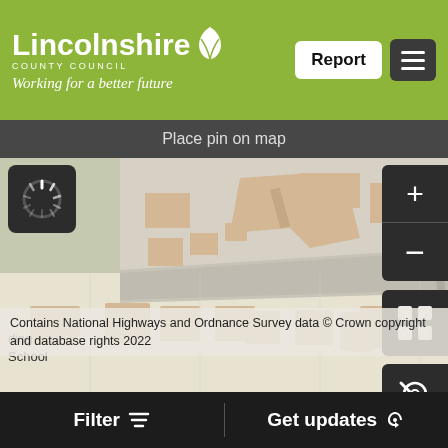[Figure (screenshot): Lincolnshire County Council web application header with logo, Report button, and menu icon on olive-green background]
Place pin on map
[Figure (map): Street map showing buildings and roads in a Lincolnshire area, with zoom controls, map type toggle, and location button on the right side. A loading spinner is visible top-left.]
ding
School
Contains National Highways and Ordnance Survey data © Crown copyright and database rights 2022
Filter    Get updates